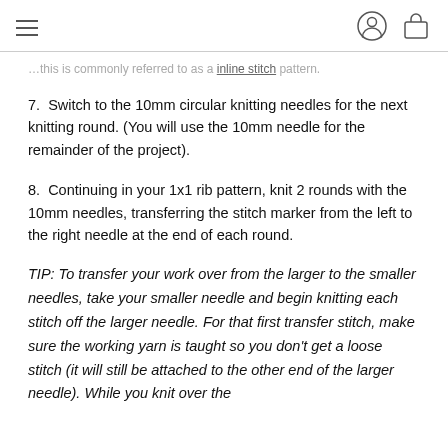≡  [user icon] [bag icon]
…this is commonly referred to as a [inline stitch] pattern.
7.  Switch to the 10mm circular knitting needles for the next knitting round. (You will use the 10mm needle for the remainder of the project).
8.  Continuing in your 1x1 rib pattern, knit 2 rounds with the 10mm needles, transferring the stitch marker from the left to the right needle at the end of each round.
TIP: To transfer your work over from the larger to the smaller needles, take your smaller needle and begin knitting each stitch off the larger needle. For that first transfer stitch, make sure the working yarn is taught so you don't get a loose stitch (it will still be attached to the other end of the larger needle). While you knit over the